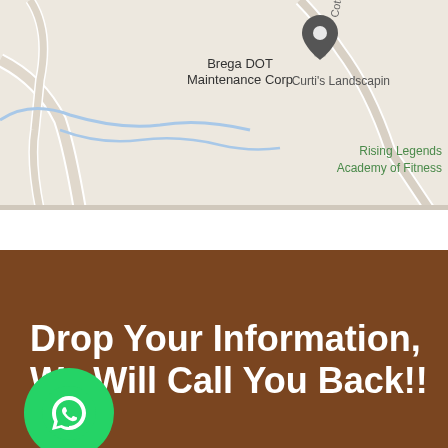[Figure (map): Google Maps screenshot showing Brega DOT Maintenance Corp with location pin, Curti's Landscaping partially visible on right, Rising Legends Academy of Fitness in green text, and road/path lines on light beige map background]
Drop Your Information, We Will Call You Back!!